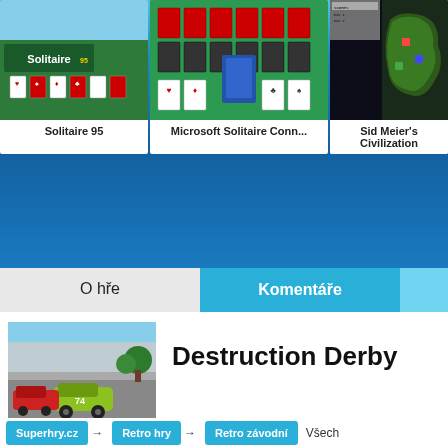[Figure (screenshot): Solitaire 95 game card thumbnail on green background]
Solitaire 95
[Figure (screenshot): Microsoft Solitaire Collection game card thumbnail on green background]
Microsoft Solitaire Conn...
[Figure (screenshot): Sid Meier's Civilization game card thumbnail on dark background]
Sid Meier's Civilization
O hře
Komentáře
[Figure (screenshot): Destruction Derby racing game screenshot showing green car on race track]
Destruction Derby
Superhry.cz → Retro hry → Retro závodní
Všech